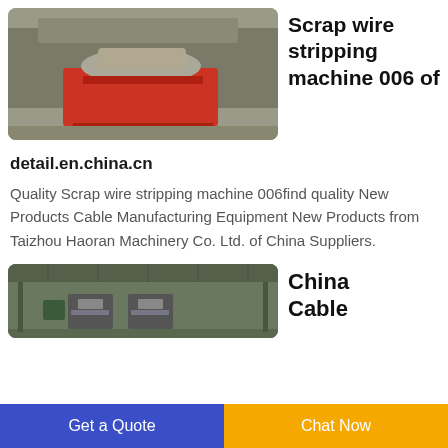[Figure (photo): Red industrial scrap wire stripping machine outdoors in front of a building]
Scrap wire stripping machine 006 of
detail.en.china.cn
Quality Scrap wire stripping machine 006find quality New Products Cable Manufacturing Equipment New Products from Taizhou Haoran Machinery Co. Ltd. of China Suppliers.
[Figure (photo): Cable manufacturing machinery under a roof/shelter]
China Cable
Get a Quote
Chat Now